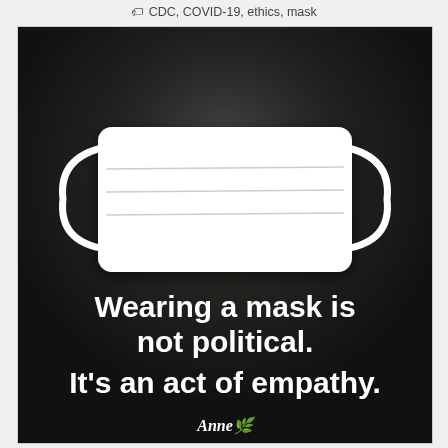CDC, COVID-19, ethics, mask
[Figure (illustration): Black and white infographic image showing a white disposable face mask on a dark wooden background. Text overlay reads: 'Wearing a mask is not political. It's an act of empathy.' With 'Anne' branding/logo at the bottom center.]